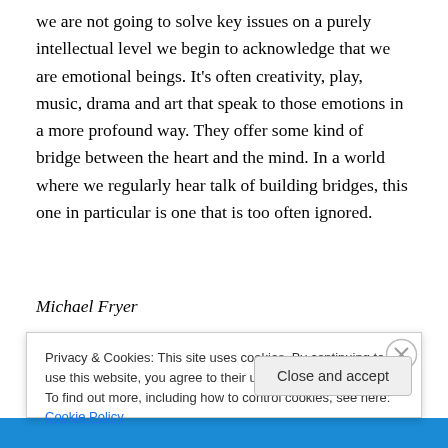we are not going to solve key issues on a purely intellectual level we begin to acknowledge that we are emotional beings. It's often creativity, play, music, drama and art that speak to those emotions in a more profound way. They offer some kind of bridge between the heart and the mind. In a world where we regularly hear talk of building bridges, this one in particular is one that is too often ignored.
Michael Fryer
Originally published in the Autumn 2011 Irish Peace
Privacy & Cookies: This site uses cookies. By continuing to use this website, you agree to their use.
To find out more, including how to control cookies, see here: Cookie Policy
Close and accept